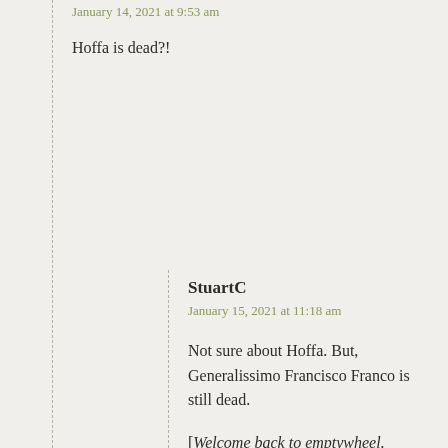[username truncated at top]
January 14, 2021 at 9:53 am
Hoffa is dead?!
StuartC
January 15, 2021 at 11:18 am
Not sure about Hoffa. But, Generalissimo Francisco Franco is still dead.
[Welcome back to emptywheel. Please use the same username each time you comment so